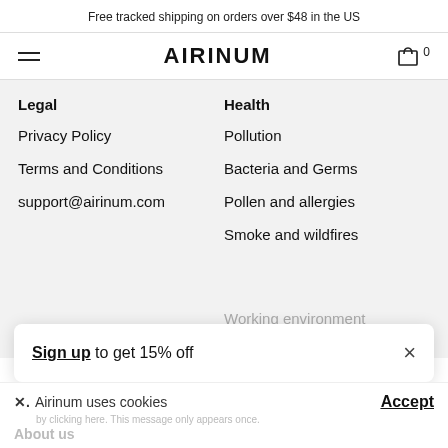Free tracked shipping on orders over $48 in the US
[Figure (screenshot): Airinum website navigation header with hamburger menu icon, AIRINUM logo, and cart icon with 0 items]
Legal
Privacy Policy
Terms and Conditions
support@airinum.com
Health
Pollution
Bacteria and Germs
Pollen and allergies
Smoke and wildfires
Sign up to get 15% off
Airinum uses cookies
Accept
About us